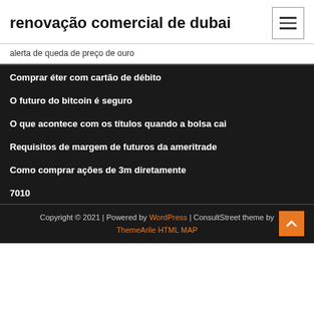renovação comercial de dubai
alerta de queda de preço de ouro
Comprar éter com cartão de débito
O futuro do bitcoin é seguro
O que acontece com os títulos quando a bolsa cai
Requisitos de margem de futuros da ameritrade
Como comprar ações de 3m diretamente
7010
Copyright © 2021 | Powered by WordPress | ConsultStreet theme by ThemeArile HTML MAP